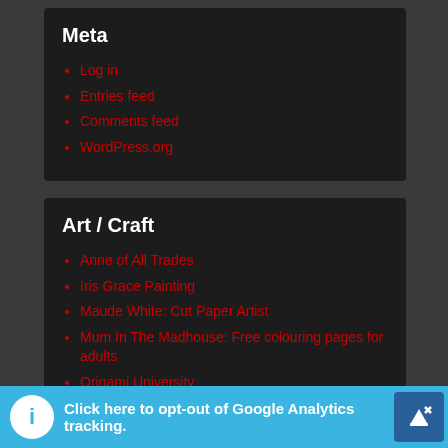Meta
Log in
Entries feed
Comments feed
WordPress.org
Art / Craft
Anne of All Trades
Iris Grace Painting
Maude White: Cut Paper Artist
Mum In The Madhouse: Free colouring pages for adults
Origami University
Secret Garden: colouring in for all
The Art of Doing Stuff
Click here to opt-out of Google Analytics tracking.